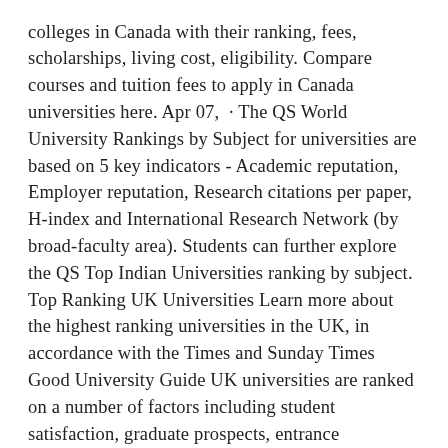colleges in Canada with their ranking, fees, scholarships, living cost, eligibility. Compare courses and tuition fees to apply in Canada universities here. Apr 07,  · The QS World University Rankings by Subject for universities are based on 5 key indicators - Academic reputation, Employer reputation, Research citations per paper, H-index and International Research Network (by broad-faculty area). Students can further explore the QS Top Indian Universities ranking by subject. Top Ranking UK Universities Learn more about the highest ranking universities in the UK, in accordance with the Times and Sunday Times Good University Guide UK universities are ranked on a number of factors including student satisfaction, graduate prospects, entrance qualifications, degree result achieved, student/staff ratio, services and dropout rate.
The university is also ranked 54th in Best Value Schools,